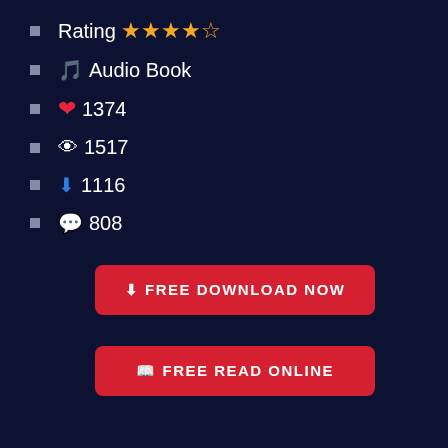Rating ★★★★½
🎵 Audio Book
❤ 1374
👁 1517
⬇ 1116
💬 808
FREE DOWNLOAD NOW
FREE READ ONLINE